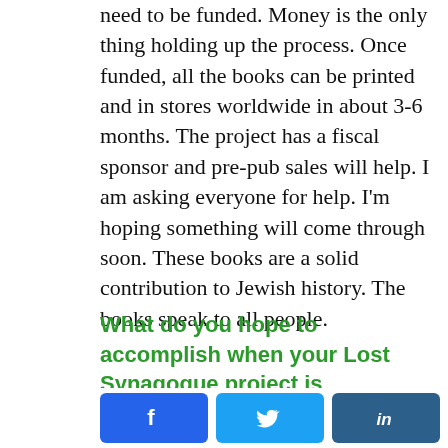need to be funded. Money is the only thing holding up the process. Once funded, all the books can be printed and in stores worldwide in about 3-6 months. The project has a fiscal sponsor and pre-pub sales will help. I am asking everyone for help. I'm hoping something will come through soon. These books are a solid contribution to Jewish history. The books speak to all people.
What do you hope to accomplish when your Lost Synagogue project is completed?
I don't really see a completion date for the
[Figure (infographic): Social share buttons row: Facebook (blue), Twitter (light blue), LinkedIn (dark blue)]